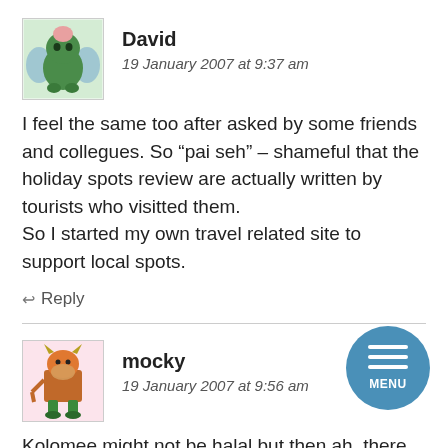David
19 January 2007 at 9:37 am
I feel the same too after asked by some friends and collegues. So “pai seh” – shameful that the holiday spots review are actually written by tourists who visitted them.
So I started my own travel related site to support local spots.
↩ Reply
mocky
19 January 2007 at 9:56 am
Kolomee might not be halal but then ah, there kolomee made by our Malayu friend wa. Neh, like one